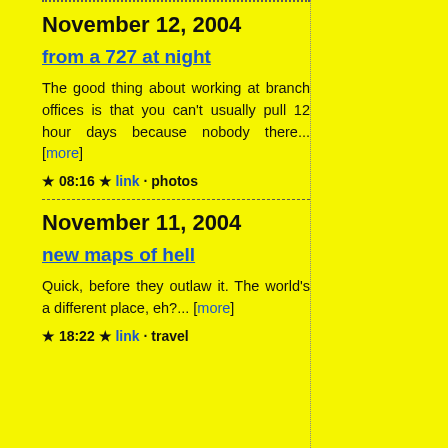November 12, 2004
from a 727 at night
The good thing about working at branch offices is that you can't usually pull 12 hour days because nobody there... [more]
★ 08:16 ★ link · photos
November 11, 2004
new maps of hell
Quick, before they outlaw it. The world's a different place, eh?... [more]
★ 18:22 ★ link · travel